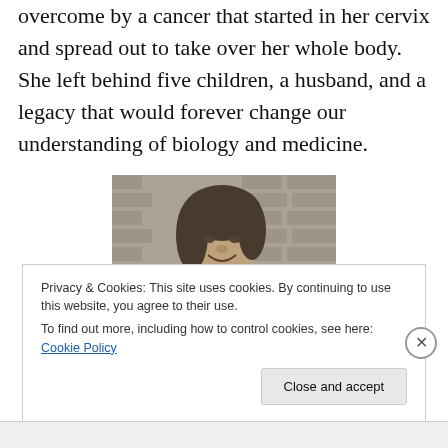overcome by a cancer that started in her cervix and spread out to take over her whole body. She left behind five children, a husband, and a legacy that would forever change our understanding of biology and medicine.
[Figure (photo): Black and white photograph of a woman (Henrietta Lacks) standing against a brick wall, smiling, wearing a jacket.]
Privacy & Cookies: This site uses cookies. By continuing to use this website, you agree to their use.
To find out more, including how to control cookies, see here: Cookie Policy